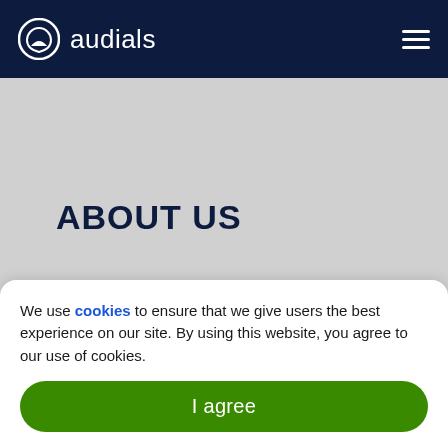audials
ABOUT US
News
Contacts
[Figure (logo): Facebook, Twitter, and YouTube social media icon buttons with rounded rectangle style on grey background]
We use cookies to ensure that we give users the best experience on our site. By using this website, you agree to our use of cookies.
I agree